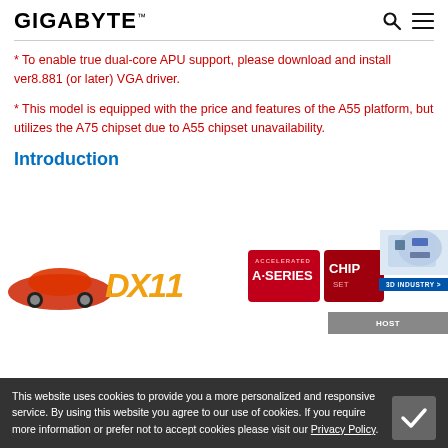GIGABYTE
* To enable true dual-core APU support, please download and install ver8.881 (or later) VGA driver.
* This model is equipped with the price and features of the A55 platform, but utilizes the A75 chipset due to A55 chipset unavailability.
Introduction
[Figure (illustration): Product marketing image strip showing a red car, AMD DX11 logo in orange, A-SERIES badge in red, CHIPSET badge in dark red, and a 3D circuit board image in top-right corner with '3D INDUSTRY >' label.]
This website uses cookies to provide you a more personalized and responsive service. By using this website you agree to our use of cookies. If you require more information or prefer not to accept cookies please visit our Privacy Policy.